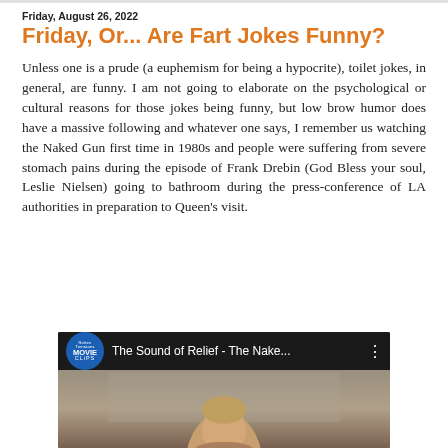Friday, August 26, 2022
Friday, Or... Are Fart Jokes Funny?
Unless one is a prude (a euphemism for being a hypocrite), toilet jokes, in general, are funny. I am not going to elaborate on the psychological or cultural reasons for those jokes being funny, but low brow humor does have a massive following and whatever one says, I remember us watching the Naked Gun first time in 1980s and people were suffering from severe stomach pains during the episode of Frank Drebin (God Bless your soul, Leslie Nielsen) going to bathroom during the press-conference of LA authorities in preparation to Queen's visit.
[Figure (screenshot): YouTube-style video thumbnail showing 'Rotten Tomatoes MOVIE CLiPS' badge on left and title 'The Sound of Relief - The Nake...' with a three-dot menu icon, with a video preview frame below showing a person.]